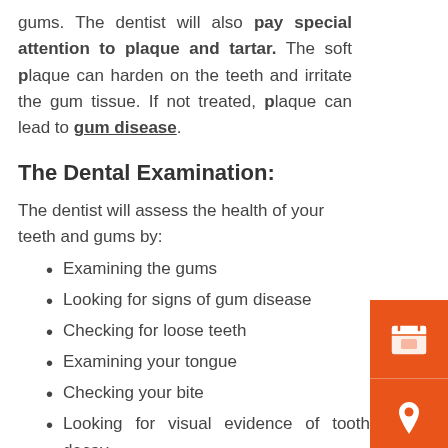gums. The dentist will also pay special attention to plaque and tartar. The soft plaque can harden on the teeth and irritate the gum tissue. If not treated, plaque can lead to gum disease.
The Dental Examination:
The dentist will assess the health of your teeth and gums by:
Examining the gums
Looking for signs of gum disease
Checking for loose teeth
Examining your tongue
Checking your bite
Looking for visual evidence of tooth decay
[Figure (illustration): Orange sidebar with three icons: calendar, location pin, and Indian rupee coin symbol]